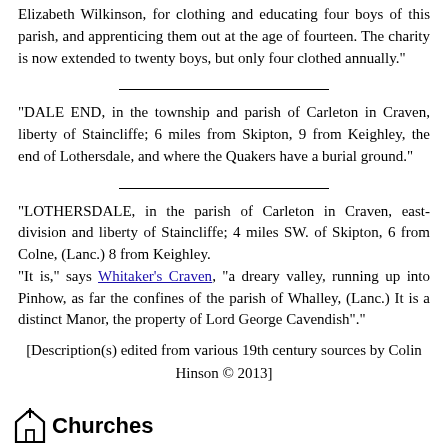Elizabeth Wilkinson, for clothing and educating four boys of this parish, and apprenticing them out at the age of fourteen. The charity is now extended to twenty boys, but only four clothed annually."
"DALE END, in the township and parish of Carleton in Craven, liberty of Staincliffe; 6 miles from Skipton, 9 from Keighley, the end of Lothersdale, and where the Quakers have a burial ground."
"LOTHERSDALE, in the parish of Carleton in Craven, east-division and liberty of Staincliffe; 4 miles SW. of Skipton, 6 from Colne, (Lanc.) 8 from Keighley.
"It is," says Whitaker's Craven, "a dreary valley, running up into Pinhow, as far the confines of the parish of Whalley, (Lanc.) It is a distinct Manor, the property of Lord George Cavendish"."
[Description(s) edited from various 19th century sources by Colin Hinson © 2013]
Churches